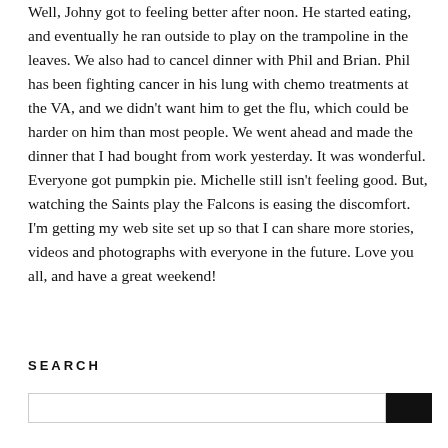Well, Johny got to feeling better after noon. He started eating, and eventually he ran outside to play on the trampoline in the leaves. We also had to cancel dinner with Phil and Brian. Phil has been fighting cancer in his lung with chemo treatments at the VA, and we didn't want him to get the flu, which could be harder on him than most people. We went ahead and made the dinner that I had bought from work yesterday. It was wonderful. Everyone got pumpkin pie. Michelle still isn't feeling good. But, watching the Saints play the Falcons is easing the discomfort.
I'm getting my web site set up so that I can share more stories, videos and photographs with everyone in the future. Love you all, and have a great weekend!
SEARCH